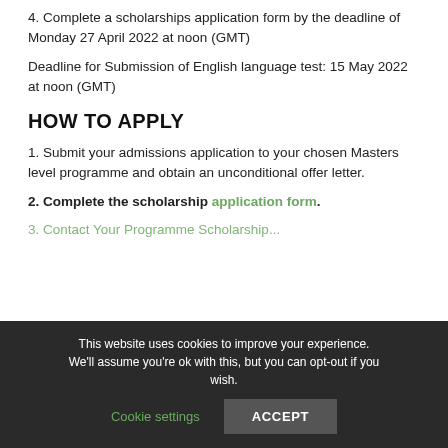4. Complete a scholarships application form by the deadline of Monday 27 April 2022 at noon (GMT)
Deadline for Submission of English language test: 15 May 2022 at noon (GMT)
HOW TO APPLY
1. Submit your admissions application to your chosen Masters level programme and obtain an unconditional offer letter.
2. Complete the scholarship application form.
3. [partially visible link text]
This website uses cookies to improve your experience. We'll assume you're ok with this, but you can opt-out if you wish.
Cookie settings | ACCEPT